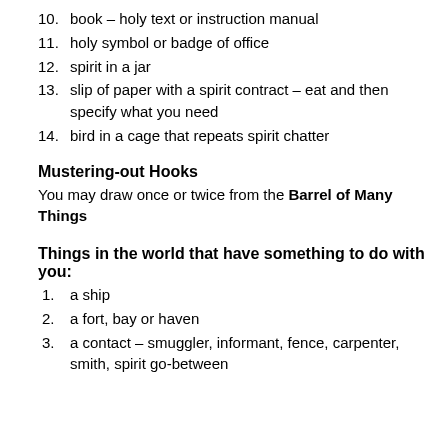10. book – holy text or instruction manual
11. holy symbol or badge of office
12. spirit in a jar
13. slip of paper with a spirit contract – eat and then specify what you need
14. bird in a cage that repeats spirit chatter
Mustering-out Hooks
You may draw once or twice from the Barrel of Many Things
Things in the world that have something to do with you:
1. a ship
2. a fort, bay or haven
3. a contact – smuggler, informant, fence, carpenter, smith, spirit go-between